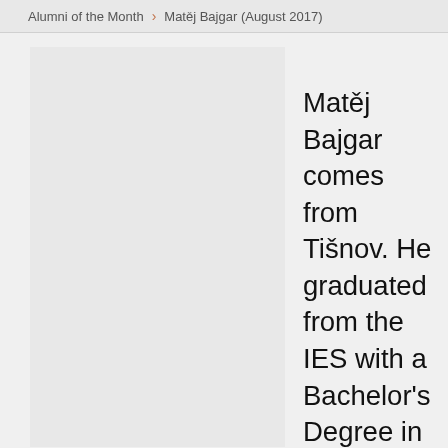Alumni of the Month > Matěj Bajgar (August 2017)
[Figure (photo): Photo placeholder box for Matěj Bajgar, shown as a light gray rectangle]
Matěj Bajgar comes from Tišnov. He graduated from the IES with a Bachelor's Degree in 2009. He earned his Master´s at